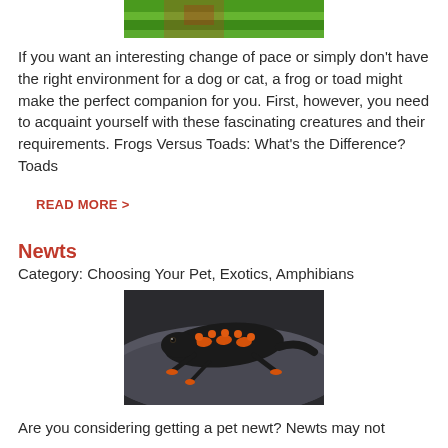[Figure (photo): Cropped photo of a frog on a green leaf, only the bottom portion visible at the top of the page]
If you want an interesting change of pace or simply don't have the right environment for a dog or cat, a frog or toad might make the perfect companion for you. First, however, you need to acquaint yourself with these fascinating creatures and their requirements. Frogs Versus Toads: What's the Difference? Toads
READ MORE >
Newts
Category: Choosing Your Pet, Exotics, Amphibians
[Figure (photo): Photo of a newt (black with orange spots/markings) on a grey rock surface]
Are you considering getting a pet newt? Newts may not